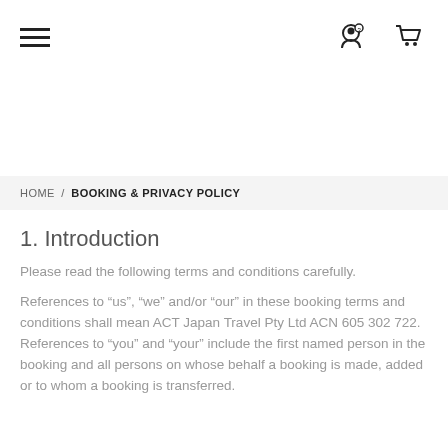Navigation bar with hamburger menu, user icon, and cart icon
HOME / BOOKING & PRIVACY POLICY
1. Introduction
Please read the following terms and conditions carefully.
References to “us”, “we” and/or “our” in these booking terms and conditions shall mean ACT Japan Travel Pty Ltd ACN 605 302 722. References to “you” and “your” include the first named person in the booking and all persons on whose behalf a booking is made, added or to whom a booking is transferred.